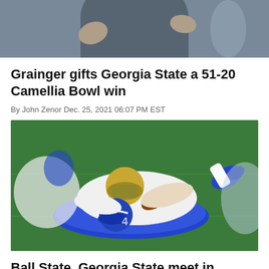[Figure (photo): Partial photo of a person in a dark gray shirt, upper body visible, cropped at top of page]
Grainger gifts Georgia State a 51-20 Camellia Bowl win
By John Zenor Dec. 25, 2021 06:07 PM EST
[Figure (photo): Football game action photo showing players tackling on a green field, one player in white/gold helmet being tackled by players in blue and white uniforms]
Ball State, Georgia State meet in Camellia Bowl on